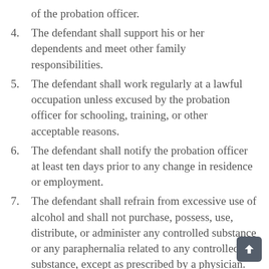of the probation officer.
4. The defendant shall support his or her dependents and meet other family responsibilities.
5. The defendant shall work regularly at a lawful occupation unless excused by the probation officer for schooling, training, or other acceptable reasons.
6. The defendant shall notify the probation officer at least ten days prior to any change in residence or employment.
7. The defendant shall refrain from excessive use of alcohol and shall not purchase, possess, use, distribute, or administer any controlled substance or any paraphernalia related to any controlled substance, except as prescribed by a physician.
8. The defendant shall not frequent places where controlled substances are illegally sold, used, distributed, or administered.